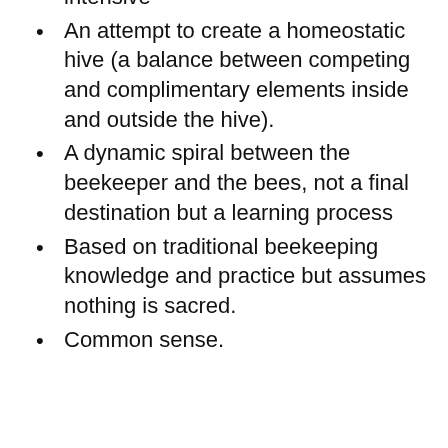intensive
An attempt to create a homeostatic hive (a balance between competing and complimentary elements inside and outside the hive).
A dynamic spiral between the beekeeper and the bees, not a final destination but a learning process
Based on traditional beekeeping knowledge and practice but assumes nothing is sacred.
Common sense.